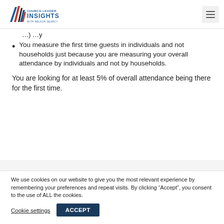Church Leader Insights with Nelson Searcy
You measure the first time guests in individuals and not households just because you are measuring your overall attendance by individuals and not by households.
You are looking for at least 5% of overall attendance being there for the first time.
We use cookies on our website to give you the most relevant experience by remembering your preferences and repeat visits. By clicking “Accept”, you consent to the use of ALL the cookies.